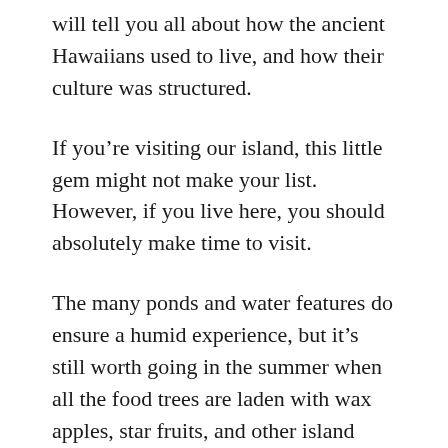will tell you all about how the ancient Hawaiians used to live, and how their culture was structured.
If you’re visiting our island, this little gem might not make your list. However, if you live here, you should absolutely make time to visit.
The many ponds and water features do ensure a humid experience, but it’s still worth going in the summer when all the food trees are laden with wax apples, star fruits, and other island favorites.
There are many daily activities available, so call ahead if you want to get involved in lei making,